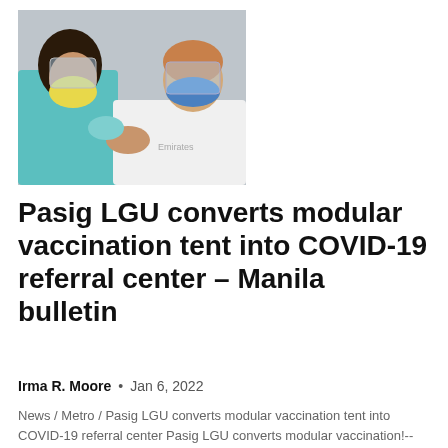[Figure (photo): Two people wearing masks and face shields; one appears to be receiving a vaccine injection administered by the other person wearing a white long-sleeve shirt.]
Pasig LGU converts modular vaccination tent into COVID-19 referral center – Manila bulletin
Irma R. Moore  •  Jan 6, 2022
News / Metro / Pasig LGU converts modular vaccination tent into COVID-19 referral center Pasig LGU converts modular vaccination!-->...